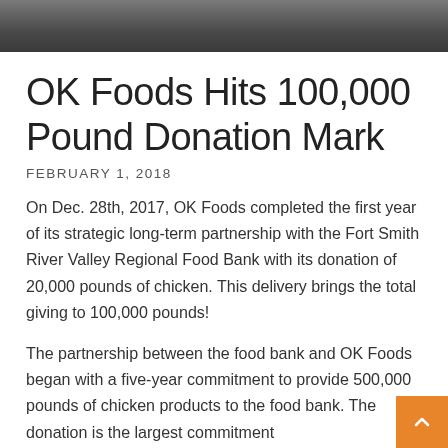[Figure (photo): Partial photo strip at the top of the page, showing a dark indoor/floor scene]
OK Foods Hits 100,000 Pound Donation Mark
FEBRUARY 1, 2018
On Dec. 28th, 2017, OK Foods completed the first year of its strategic long-term partnership with the Fort Smith River Valley Regional Food Bank with its donation of 20,000 pounds of chicken. This delivery brings the total giving to 100,000 pounds!
The partnership between the food bank and OK Foods began with a five-year commitment to provide 500,000 pounds of chicken products to the food bank. The donation is the largest commitment by OK Foods to a single charitable organization.